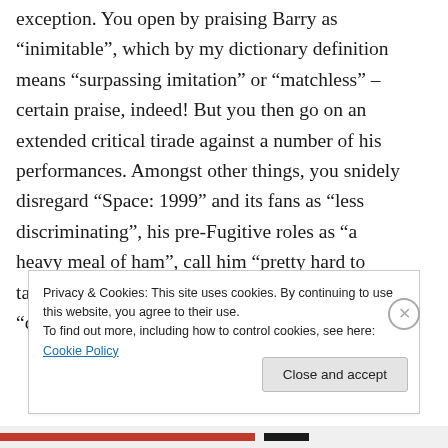exception. You open by praising Barry as “inimitable”, which by my dictionary definition means “surpassing imitation” or “matchless” – certain praise, indeed! But you then go on an extended critical tirade against a number of his performances. Amongst other things, you snidely disregard “Space: 1999” and its fans as “less discriminating”, his pre-Fugitive roles as “a heavy meal of ham”, call him “pretty hard to take” in “The Twilight Zone”, “insufferable” and “chomps the scenery” in “The Defenders”, “over
Privacy & Cookies: This site uses cookies. By continuing to use this website, you agree to their use.
To find out more, including how to control cookies, see here: Cookie Policy
Close and accept